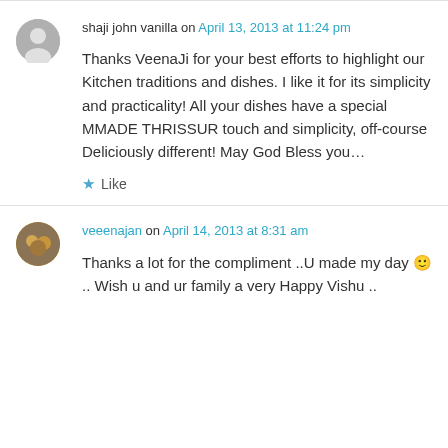shaji john vanilla on April 13, 2013 at 11:24 pm
Thanks VeenaJi for your best efforts to highlight our Kitchen traditions and dishes. I like it for its simplicity and practicality! All your dishes have a special MMADE THRISSUR touch and simplicity, off-course Deliciously different! May God Bless you…
★ Like
veeenajan on April 14, 2013 at 8:31 am
Thanks a lot for the compliment ..U made my day 🙂 .. Wish u and ur family a very Happy Vishu ..